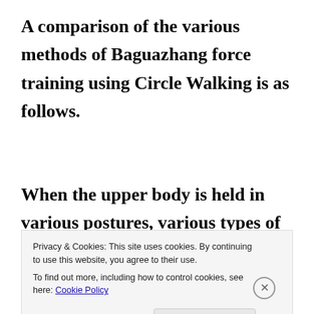A comparison of the various methods of Baguazhang force training using Circle Walking is as follows.
When the upper body is held in various postures, various types of consolidated
Privacy & Cookies: This site uses cookies. By continuing to use this website, you agree to their use.
To find out more, including how to control cookies, see here: Cookie Policy
Close and accept